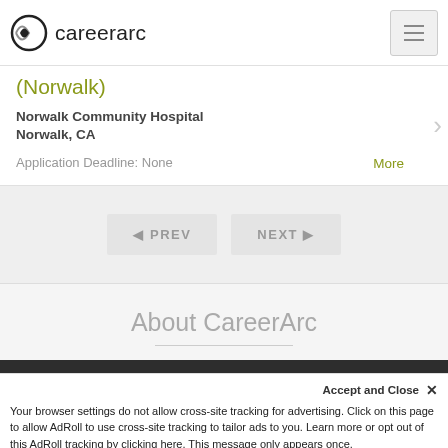careerarc
(Norwalk)
Norwalk Community Hospital
Norwalk, CA
Application Deadline: None
More
◄ PREV   NEXT ►
About CareerArc
Your browser settings do not allow cross-site tracking for advertising. Click on this page to allow AdRoll to use cross-site tracking to tailor ads to you. Learn more or opt out of this AdRoll tracking by clicking here. This message only appears once.